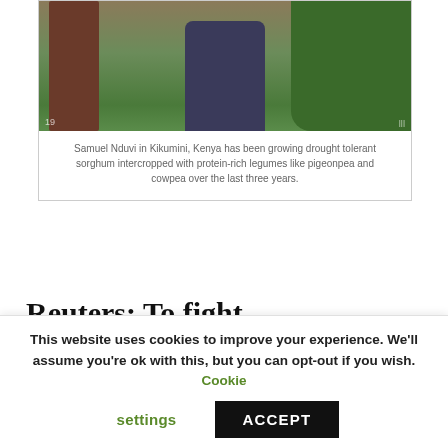[Figure (photo): Samuel Nduvi in Kikumini, Kenya, standing in a field with drought tolerant sorghum plants intercropped with legumes. Person wearing a blue patterned shirt, surrounded by red/brown sorghum stalks and green foliage.]
Samuel Nduvi in Kikumini, Kenya has been growing drought tolerant sorghum intercropped with protein-rich legumes like pigeonpea and cowpea over the last three years.
Reuters: To fight desertification we need to drive diversity on farms and plates
Farmland in Kenya's north has deteriorated
This website uses cookies to improve your experience. We'll assume you're ok with this, but you can opt-out if you wish. Cookie settings ACCEPT